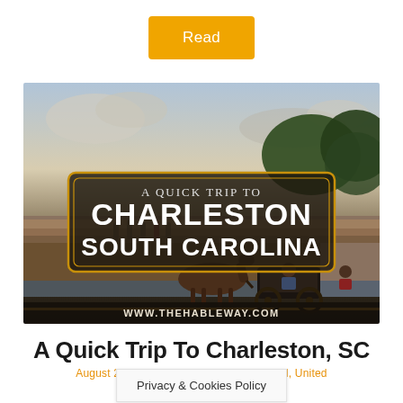Read
[Figure (photo): Hero image for a blog post about Charleston, South Carolina. Shows a horse-drawn carriage in the foreground, a brick plaza with steps and people in the background, trees, and a cloudy sky. Overlaid with a dark banner reading 'A QUICK TRIP TO CHARLESTON SOUTH CAROLINA' in bold white/serif text with a gold border, and the URL www.thehableway.com at the bottom.]
A Quick Trip To Charleston, SC
August 23, 2018 / Led... ...val, United
Privacy & Cookies Policy